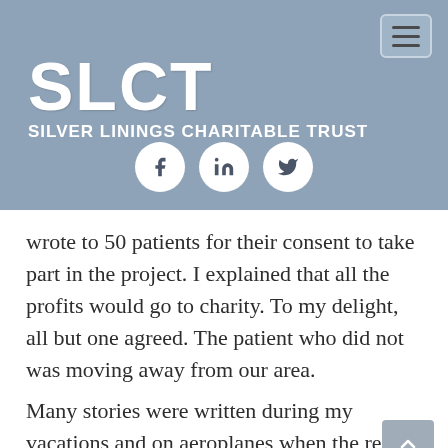[Figure (logo): SLCT Silver Linings Charitable Trust logo with large white SLCT text and full name beneath on blue-grey background]
[Figure (infographic): Social media icons: Facebook, LinkedIn, Twitter in white circles on blue-grey background]
wrote to 50 patients for their consent to take part in the project. I explained that all the profits would go to charity. To my delight, all but one agreed. The patient who did not was moving away from our area.
Many stories were written during my vacations and on aeroplanes when the rest of the passengers were asleep, or at my home, in the